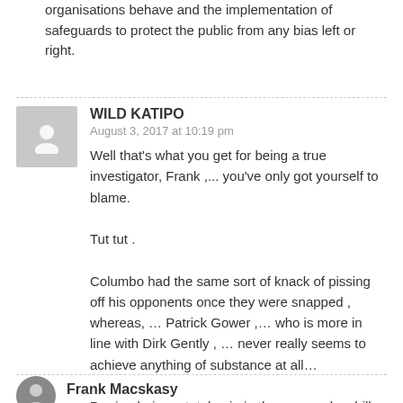organisations behave and the implementation of safeguards to protect the public from any bias left or right.
WILD KATIPO
August 3, 2017 at 10:19 pm
Well that's what you get for being a true investigator, Frank ,... you've only got yourself to blame.

Tut tut .

Columbo had the same sort of knack of pissing off his opponents once they were snapped , whereas, … Patrick Gower ,… who is more in line with Dirk Gently , … never really seems to achieve anything of substance at all…

Barring being a total pain in the arse and a shill for the National party…
Frank Macskasy